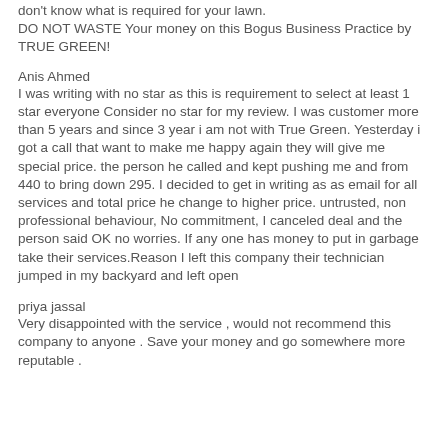don't know what is required for your lawn. DO NOT WASTE Your money on this Bogus Business Practice by TRUE GREEN!
Anis Ahmed
I was writing with no star as this is requirement to select at least 1 star everyone Consider no star for my review. I was customer more than 5 years and since 3 year i am not with True Green. Yesterday i got a call that want to make me happy again they will give me special price. the person he called and kept pushing me and from 440 to bring down 295. I decided to get in writing as as email for all services and total price he change to higher price. untrusted, non professional behaviour, No commitment, I canceled deal and the person said OK no worries. If any one has money to put in garbage take their services.Reason I left this company their technician jumped in my backyard and left open
priya jassal
Very disappointed with the service , would not recommend this company to anyone . Save your money and go somewhere more reputable .